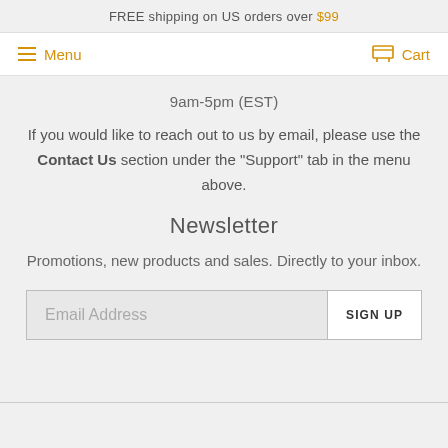FREE shipping on US orders over $99
Menu   Cart
9am-5pm (EST)
If you would like to reach out to us by email, please use the Contact Us section under the "Support" tab in the menu above.
Newsletter
Promotions, new products and sales. Directly to your inbox.
Email Address   SIGN UP